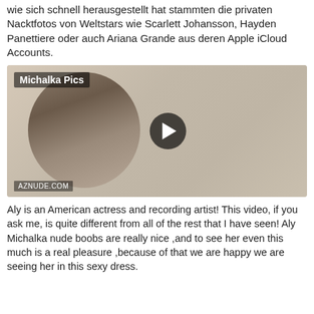wie sich schnell herausgestellt hat stammten die privaten Nacktfotos von Weltstars wie Scarlett Johansson, Hayden Panettiere oder auch Ariana Grande aus deren Apple iCloud Accounts.
[Figure (photo): Video thumbnail showing a woman in a bikini taking a mirror selfie, with a circular crop overlay and a play button in the center. Labeled 'Michalka Pics' at top left and 'AZNUDE.COM' watermark at bottom left.]
Aly is an American actress and recording artist! This video, if you ask me, is quite different from all of the rest that I have seen! Aly Michalka nude boobs are really nice ,and to see her even this much is a real pleasure ,because of that we are happy we are seeing her in this sexy dress.